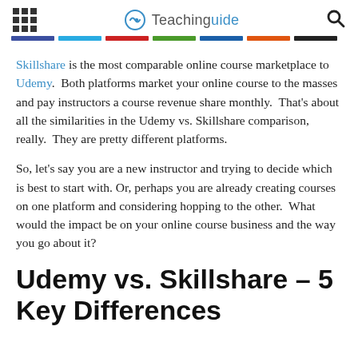Teachinguide
Skillshare is the most comparable online course marketplace to Udemy.  Both platforms market your online course to the masses and pay instructors a course revenue share monthly.  That's about all the similarities in the Udemy vs. Skillshare comparison, really.  They are pretty different platforms.
So, let's say you are a new instructor and trying to decide which is best to start with. Or, perhaps you are already creating courses on one platform and considering hopping to the other.  What would the impact be on your online course business and the way you go about it?
Udemy vs. Skillshare – 5 Key Differences